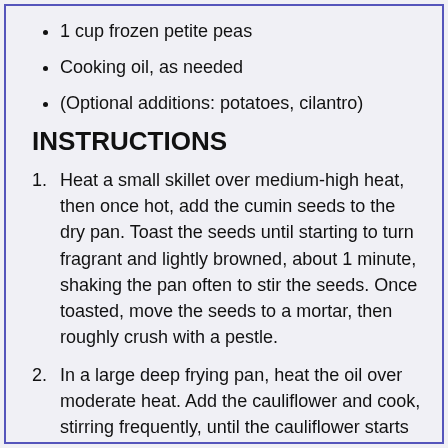1 cup frozen petite peas
Cooking oil, as needed
(Optional additions: potatoes, cilantro)
INSTRUCTIONS
Heat a small skillet over medium-high heat, then once hot, add the cumin seeds to the dry pan. Toast the seeds until starting to turn fragrant and lightly browned, about 1 minute, shaking the pan often to stir the seeds. Once toasted, move the seeds to a mortar, then roughly crush with a pestle.
In a large deep frying pan, heat the oil over moderate heat. Add the cauliflower and cook, stirring frequently, until the cauliflower starts to soften and brown lightly, about 5 minutes.